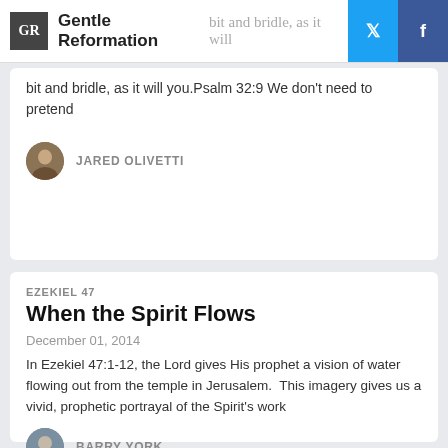Gentle Reformation
bit and bridle, as it will you.Psalm 32:9 We don't need to pretend
JARED OLIVETTI
EZEKIEL 47
When the Spirit Flows
December 01, 2014
In Ezekiel 47:1-12, the Lord gives His prophet a vision of water flowing out from the temple in Jerusalem.  This imagery gives us a vivid, prophetic portrayal of the Spirit's work
BARRY YORK